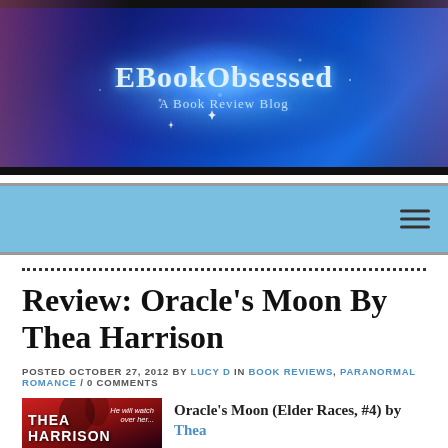[Figure (illustration): EBookObsessed blog banner — dark blue fantasy/magical background with glowing lights, a woman with a tablet on the left, a castle in the center, a dragon on the right, and a woman in the background. Text reads 'EBookObsessed — A Book Review Blog']
EBookObsessed — A Book Review Blog
Review: Oracle's Moon By Thea Harrison
POSTED OCTOBER 27, 2012 BY LUCY D IN BOOK REVIEWS, PARANORMAL ROMANCE / 0 COMMENTS
[Figure (photo): Book cover of Oracle's Moon by Thea Harrison showing a couple in red/dark tones with the text 'THEA HARRISON' at the bottom and tagline 'He will watch over her...']
Oracle's Moon (Elder Races, #4) by Thea